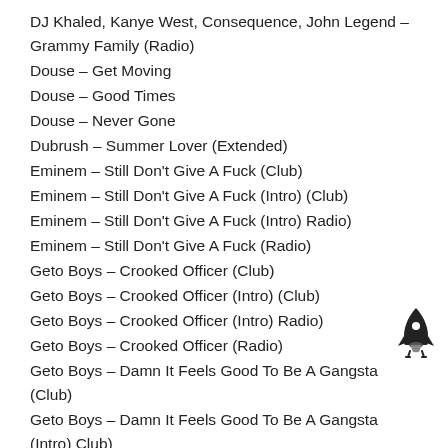DJ Khaled, Kanye West, Consequence, John Legend – Grammy Family (Radio)
Douse – Get Moving
Douse – Good Times
Douse – Never Gone
Dubrush – Summer Lover (Extended)
Eminem – Still Don't Give A Fuck (Club)
Eminem – Still Don't Give A Fuck (Intro) (Club)
Eminem – Still Don't Give A Fuck (Intro) Radio)
Eminem – Still Don't Give A Fuck (Radio)
Geto Boys – Crooked Officer (Club)
Geto Boys – Crooked Officer (Intro) (Club)
Geto Boys – Crooked Officer (Intro) Radio)
Geto Boys – Crooked Officer (Radio)
Geto Boys – Damn It Feels Good To Be A Gangsta (Club)
Geto Boys – Damn It Feels Good To Be A Gangsta (Intro) Club)
Geto Boys – Damn It Feels Good To Be A Gangsta